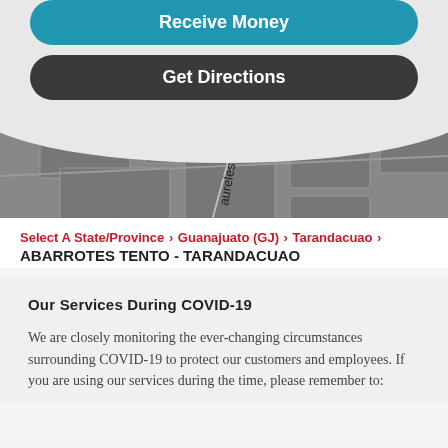[Figure (screenshot): Blue rounded button labeled Receive Money]
[Figure (screenshot): Dark rounded button labeled Get Directions]
[Figure (map): Grayscale map thumbnail showing street names Aldama and Laureles in Tarandacuao area]
Select A State/Province > Guanajuato (GJ) > Tarandacuao >
ABARROTES TENTO - TARANDACUAO
Our Services During COVID-19
We are closely monitoring the ever-changing circumstances surrounding COVID-19 to protect our customers and employees. If you are using our services during the time, please remember to: